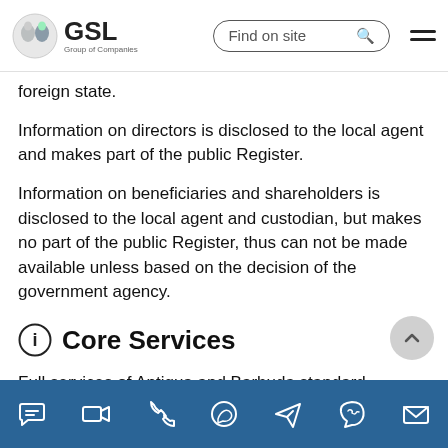GSL Group of Companies — Find on site
foreign state.
Information on directors is disclosed to the local agent and makes part of the public Register.
Information on beneficiaries and shareholders is disclosed to the local agent and custodian, but makes no part of the public Register, thus can not be made available unless based on the decision of the government agency.
Core Services
Full services of Antigua and Barbuda standard company purchase cost 2,950 USD and include registration, legal
Chat | Video | Phone | WhatsApp | Telegram | Viber | Email